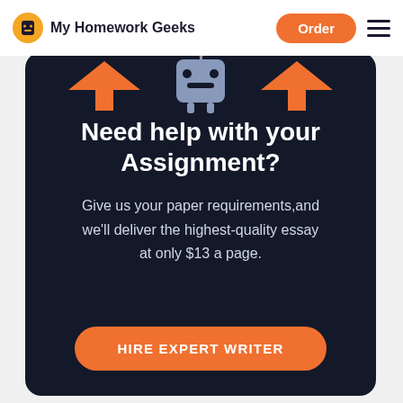My Homework Geeks | Order
[Figure (illustration): Illustration of a robot or character mascot with orange arrows/wings at the top of the dark card section]
Need help with your Assignment?
Give us your paper requirements,and we'll deliver the highest-quality essay at only $13 a page.
HIRE EXPERT WRITER